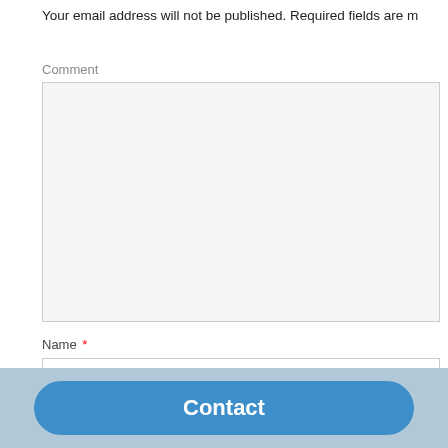Your email address will not be published. Required fields are m
Comment
Name *
Email *
Contact